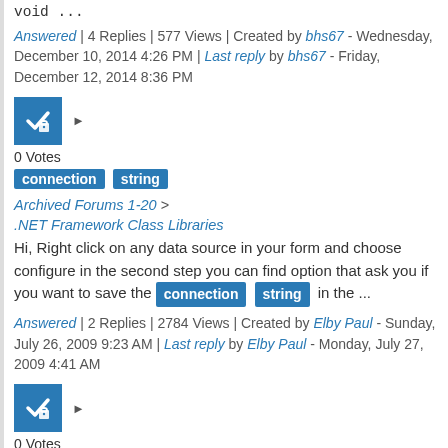void ...
Answered | 4 Replies | 577 Views | Created by bhs67 - Wednesday, December 10, 2014 4:26 PM | Last reply by bhs67 - Friday, December 12, 2014 8:36 PM
[Figure (other): Blue checkbox icon with lock symbol and right-arrow, 0 Votes]
0 Votes
connection string
Archived Forums 1-20 > .NET Framework Class Libraries
Hi, Right click on any data source in your form and choose configure in the second step you can find option that ask you if you want to save the connection string in the ...
Answered | 2 Replies | 2784 Views | Created by Elby Paul - Sunday, July 26, 2009 9:23 AM | Last reply by Elby Paul - Monday, July 27, 2009 4:41 AM
[Figure (other): Blue checkbox icon with lock symbol and right-arrow, 0 Votes]
0 Votes
connection string